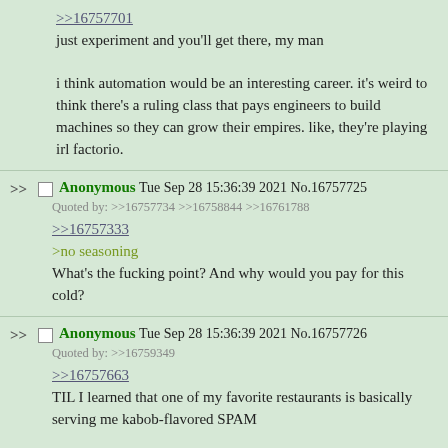>>16757701
just experiment and you'll get there, my man

i think automation would be an interesting career. it's weird to think there's a ruling class that pays engineers to build machines so they can grow their empires. like, they're playing irl factorio.
Anonymous Tue Sep 28 15:36:39 2021 No.16757725
Quoted by: >>16757734 >>16758844 >>16761788
>>16757333
>no seasoning
What's the fucking point? And why would you pay for this cold?
Anonymous Tue Sep 28 15:36:39 2021 No.16757726
Quoted by: >>16759349
>>16757663
TIL I learned that one of my favorite restaurants is basically serving me kabob-flavored SPAM

will still keep eating there